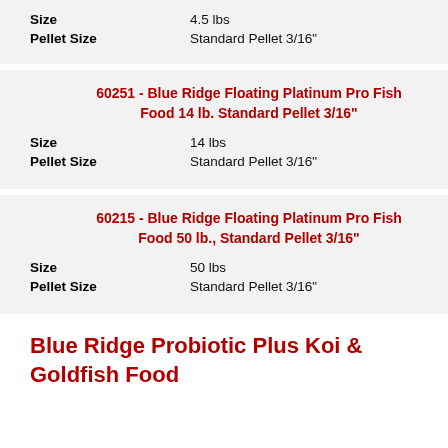| Attribute | Value |
| --- | --- |
| Size | 4.5 lbs |
| Pellet Size | Standard Pellet 3/16" |
60251 - Blue Ridge Floating Platinum Pro Fish Food 14 lb. Standard Pellet 3/16"
| Attribute | Value |
| --- | --- |
| Size | 14 lbs |
| Pellet Size | Standard Pellet 3/16" |
60215 - Blue Ridge Floating Platinum Pro Fish Food 50 lb., Standard Pellet 3/16"
| Attribute | Value |
| --- | --- |
| Size | 50 lbs |
| Pellet Size | Standard Pellet 3/16" |
Blue Ridge Probiotic Plus Koi & Goldfish Food